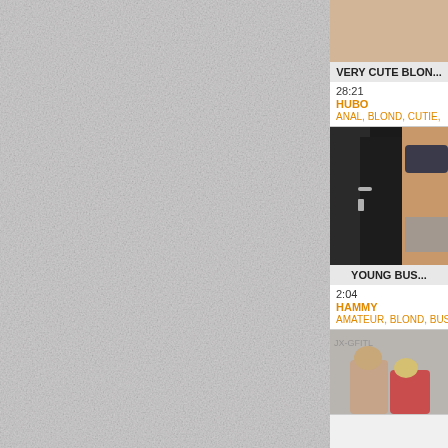[Figure (screenshot): Left panel: light grey textured background, majority of page]
[Figure (screenshot): Thumbnail image for 'VERY CUTE BLON...' video card]
VERY CUTE BLON...
28:21
HUBO
ANAL, BLOND, CUTIE,
[Figure (screenshot): Thumbnail image for 'YOUNG BUS...' video card showing person in bikini by door]
YOUNG BUS...
2:04
HAMMY
AMATEUR, BLOND, BUS...
[Figure (screenshot): Thumbnail image partially visible at bottom of right panel]